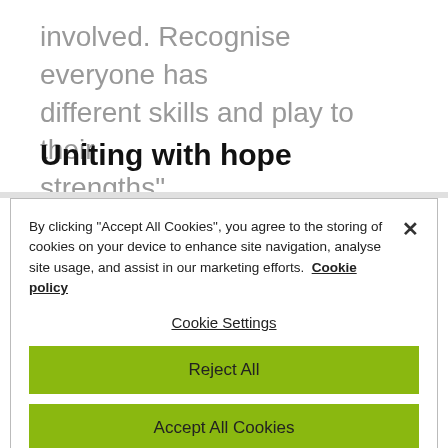involved. Recognise everyone has different skills and play to their strengths".
Uniting with hope
By clicking "Accept All Cookies", you agree to the storing of cookies on your device to enhance site navigation, analyse site usage, and assist in our marketing efforts. Cookie policy
Cookie Settings
Reject All
Accept All Cookies